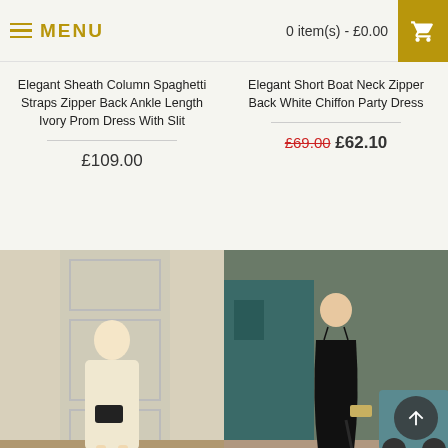MENU | 0 item(s) - £0.00
Elegant Sheath Column Spaghetti Straps Zipper Back Ankle Length Ivory Prom Dress With Slit
£109.00
Elegant Short Boat Neck Zipper Back White Chiffon Party Dress
£69.00  £62.10
[Figure (photo): Woman wearing an elegant short white prom dress with crew neck, holding a black handbag, standing in front of a paneled door]
[Figure (photo): Woman wearing an elegant tea length black prom dress with spaghetti straps and slit, standing on a street beside a vintage car]
Elegant Short White Prom Dress With Pockets Crew Neck Zipper Back Half Sleeves Evening Dress
Elegant Temperament Tea Length Black Prom Dress With Slit Spaghetti Straps Bowknot tie at Back Waist